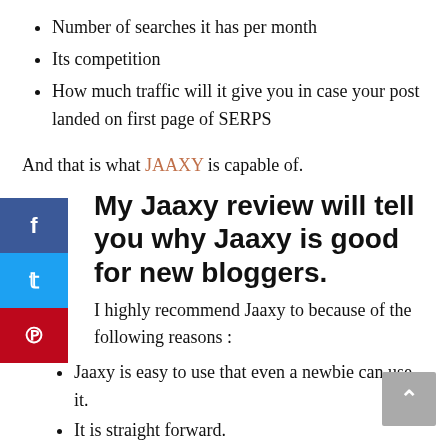Number of searches it has per month
Its competition
How much traffic will it give you in case your post landed on first page of SERPS
And that is what JAAXY is capable of.
My Jaaxy review will tell you why Jaaxy is good for new bloggers.
I highly recommend Jaaxy to because of the following reasons :
Jaaxy is easy to use that even a newbie can use it.
It is straight forward.
It doesn't have bells and whistles that can confuse newbies.